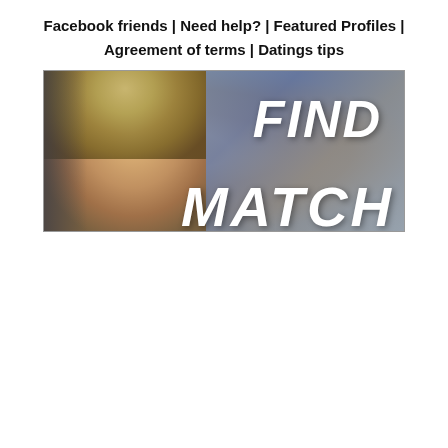Facebook friends | Need help? | Featured Profiles | Agreement of terms | Datings tips
[Figure (photo): Banner image showing a blonde woman's face partially visible on the left side with a blurred city background on the right. Large white bold italic text reads 'FIND' in the upper right and 'MATCH' (partially cut off) in the lower right.]